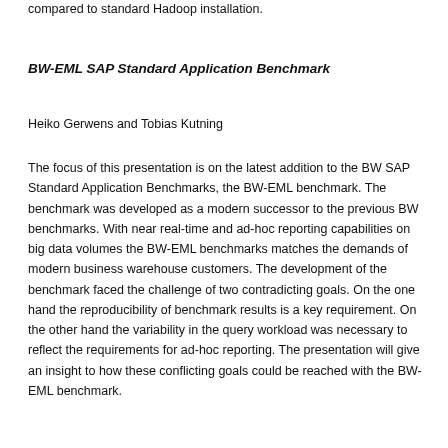compared to standard Hadoop installation.
BW-EML SAP Standard Application Benchmark
Heiko Gerwens and Tobias Kutning
The focus of this presentation is on the latest addition to the BW SAP Standard Application Benchmarks, the BW-EML benchmark. The benchmark was developed as a modern successor to the previous BW benchmarks. With near real-time and ad-hoc reporting capabilities on big data volumes the BW-EML benchmarks matches the demands of modern business warehouse customers. The development of the benchmark faced the challenge of two contradicting goals. On the one hand the reproducibility of benchmark results is a key requirement. On the other hand the variability in the query workload was necessary to reflect the requirements for ad-hoc reporting. The presentation will give an insight to how these conflicting goals could be reached with the BW-EML benchmark.